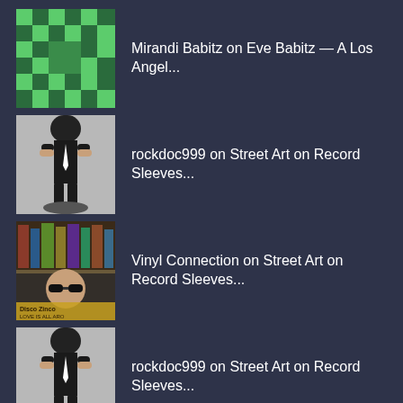Mirandi Babitz on Eve Babitz — A Los Angel...
rockdoc999 on Street Art on Record Sleeves...
Vinyl Connection on Street Art on Record Sleeves...
rockdoc999 on Street Art on Record Sleeves...
Vinyl Connection on Street Art on Record Sleeves...
ARCHIVES
August 2022
July 2022